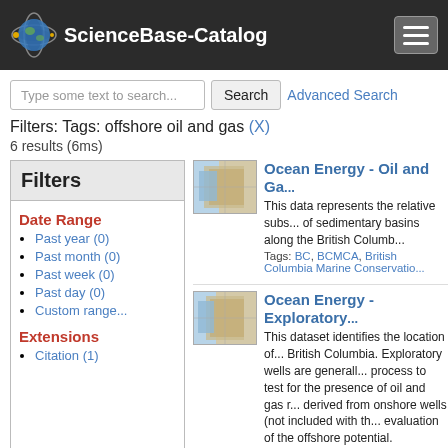ScienceBase-Catalog
Type some text to search... Search  Advanced Search
Filters: Tags: offshore oil and gas (X)
6 results (6ms)
Filters
Date Range
Past year (0)
Past month (0)
Past week (0)
Past day (0)
Custom range...
Extensions
Citation (1)
Ocean Energy - Oil and Ga... This data represents the relative subs... of sedimentary basins along the British Columb... Tags: BC, BCMCA, British Columbia Marine Conservatio...
Ocean Energy - Exploratory... This dataset identifies the location of... British Columbia. Exploratory wells are generall... process to test for the presence of oil and gas r... derived from onshore wells (not included with th... evaluation of the offshore potential. Tags: BCMCA, British Columbia, British Columbia Marine... tags...